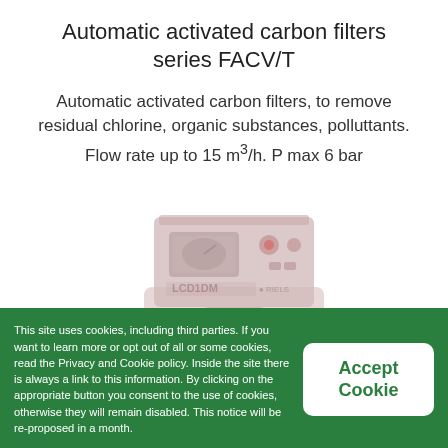Automatic activated carbon filters series FACV/T
Automatic activated carbon filters, to remove residual chlorine, organic substances, polluttants. Flow rate up to 15 m³/h. P max 6 bar
[Figure (photo): Product photo of an automatic activated carbon filter controller unit (LCD display, valves) mounted on top of a filter tank, shown in pale/washed-out style]
This site uses cookies, including third parties. If you want to learn more or opt out of all or some cookies, read the Privacy and Cookie policy. Inside the site there is always a link to this information. By clicking on the appropriate button you consent to the use of cookies, otherwise they will remain disabled. This notice will be re-proposed in a month.
Accept Cookie